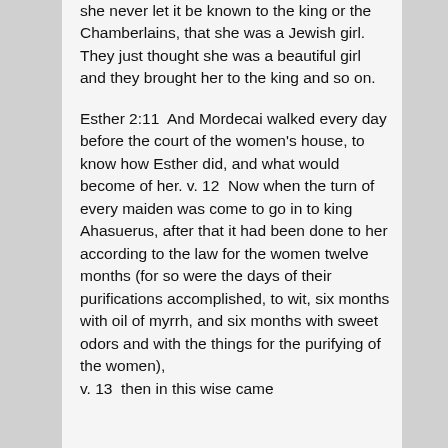she never let it be known to the king or the Chamberlains, that she was a Jewish girl. They just thought she was a beautiful girl and they brought her to the king and so on.

Esther 2:11  And Mordecai walked every day before the court of the women's house, to know how Esther did, and what would become of her. v. 12  Now when the turn of every maiden was come to go in to king Ahasuerus, after that it had been done to her according to the law for the women twelve months (for so were the days of their purifications accomplished, to wit, six months with oil of myrrh, and six months with sweet odors and with the things for the purifying of the women),
v. 13  then in this wise came